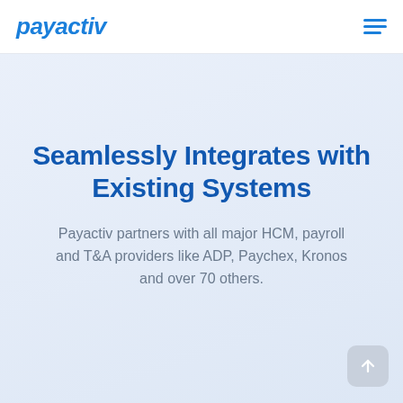payactiv
Seamlessly Integrates with Existing Systems
Payactiv partners with all major HCM, payroll and T&A providers like ADP, Paychex, Kronos and over 70 others.